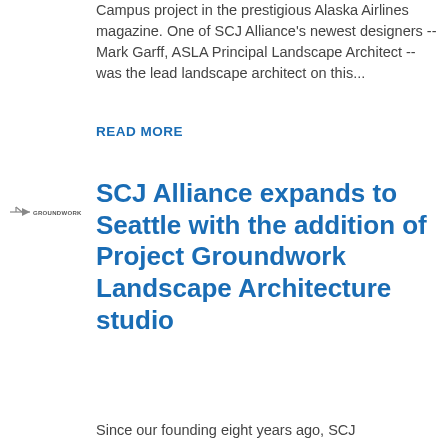...securing a great write up on the Bravura Campus project in the prestigious Alaska Airlines magazine. One of SCJ Alliance's newest designers -- Mark Garff, ASLA Principal Landscape Architect -- was the lead landscape architect on this...
READ MORE
[Figure (logo): Project Groundwork logo - small bird/arrow icon with text GROUNDWORK]
SCJ Alliance expands to Seattle with the addition of Project Groundwork Landscape Architecture studio
Since our founding eight years ago, SCJ